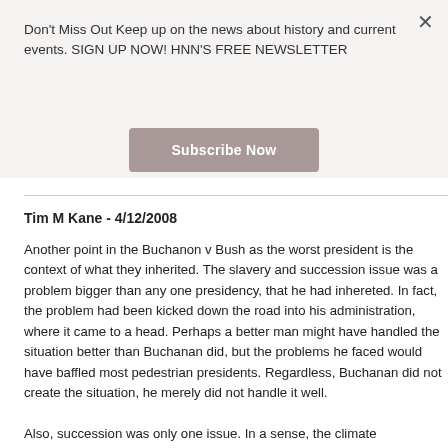Don't Miss Out Keep up on the news about history and current events. SIGN UP NOW! HNN'S FREE NEWSLETTER
Subscribe Now
Tim M Kane - 4/12/2008
Another point in the Buchanon v Bush as the worst president is the context of what they inherited. The slavery and succession issue was a problem bigger than any one presidency, that he had inhereted. In fact, the problem had been kicked down the road into his administration, where it came to a head. Perhaps a better man might have handled the situation better than Buchanan did, but the problems he faced would have baffled most pedestrian presidents. Regardless, Buchanan did not create the situation, he merely did not handle it well.
Also, succession was only one issue. In a sense, the climate